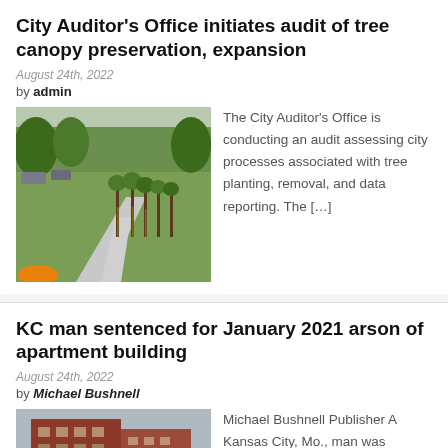City Auditor’s Office initiates audit of tree canopy preservation, expansion
August 24th, 2022
by admin
[Figure (photo): Photo of a park with a walking path and young trees planted in a row on a grassy area. There is an orange object in the foreground lower left.]
The City Auditor’s Office is conducting an audit assessing city processes associated with tree planting, removal, and data reporting. The […]
KC man sentenced for January 2021 arson of apartment building
August 24th, 2022
by Michael Bushnell
[Figure (photo): Photo of a red brick apartment building in winter with bare trees in front.]
Michael Bushnell Publisher A Kansas City, Mo., man was